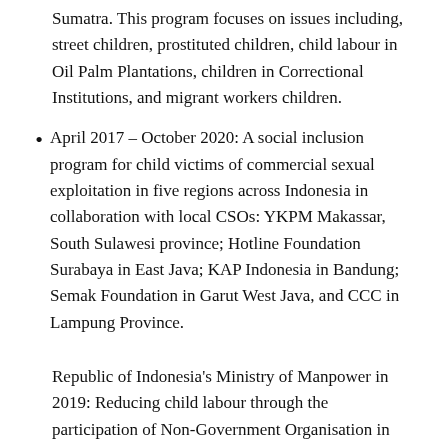Sumatra. This program focuses on issues including, street children, prostituted children, child labour in Oil Palm Plantations, children in Correctional Institutions, and migrant workers children.
April 2017 – October 2020: A social inclusion program for child victims of commercial sexual exploitation in five regions across Indonesia in collaboration with local CSOs: YKPM Makassar, South Sulawesi province; Hotline Foundation Surabaya in East Java; KAP Indonesia in Bandung; Semak Foundation in Garut West Java, and CCC in Lampung Province.
Republic of Indonesia's Ministry of Manpower in 2019: Reducing child labour through the participation of Non-Government Organisation in Klaten Regency, Magelang Regency, and Kebumen Regency.